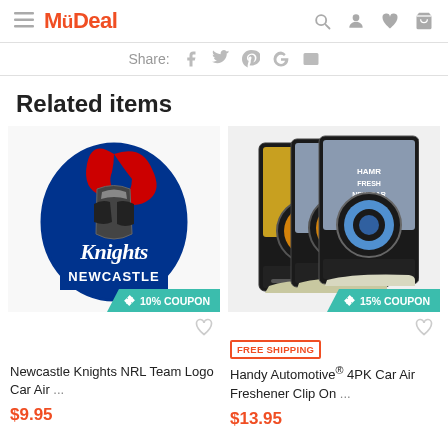MyDeal
Share:
Related items
[Figure (photo): Newcastle Knights NRL team logo sticker/badge with red and blue design showing a knight with text 'Knights NEWCASTLE'. Has a 10% coupon badge.]
[Figure (photo): Handy Automotive 4PK Car Air Freshener Clip On product packaging showing multiple packages. Has a 15% coupon badge and FREE SHIPPING label.]
Newcastle Knights NRL Team Logo Car Air ...
$9.95
Handy Automotive® 4PK Car Air Freshener Clip On ...
$13.95